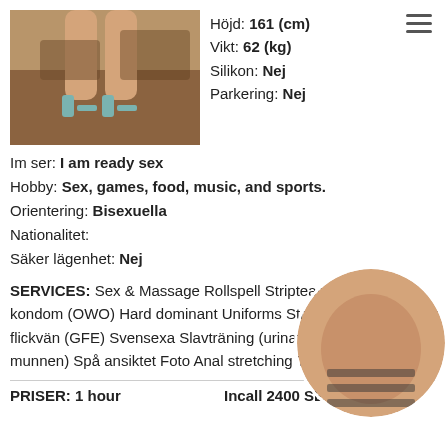[Figure (photo): Photo of woman's legs in high heels]
Höjd: 161 (cm)
Vikt: 62 (kg)
Silikon: Nej
Parkering: Nej
Im ser: I am ready sex
Hobby: Sex, games, food, music, and sports.
Orientering: Bisexuella
Nationalitet:
Säker lägenhet: Nej
SERVICES: Sex & Massage Rollspell Striptease Oralsex utan kondom (OWO) Hard dominant Uniforms Strap-on Erfarenhet av flickvän (GFE) Svensexa Slavträning (urination) CIM (komma i munnen) Spå ansiktet Foto Anal stretching Tungkyssar Onani
[Figure (photo): Circular cropped photo of woman's torso]
PRISER: 1 hour
Incall 2400 SEK